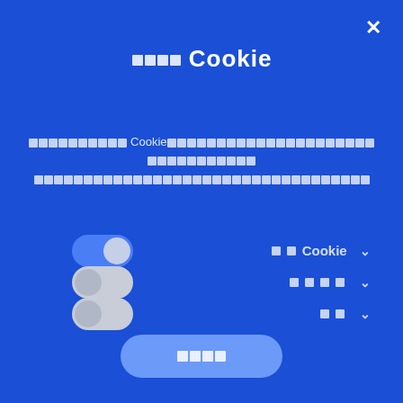□□□□ Cookie
□□□□□□□□□□ Cookie□□□□□□□□□□□□□□□□□□□□□□□□□□□□□□□□□□□□□□□□□□□□□□□□□□□□□□□□
[Figure (screenshot): Cookie consent dialog with three toggle switches (first ON in blue, second and third OFF in grey) and labels for cookie categories with dropdown chevrons. A confirm button at the bottom.]